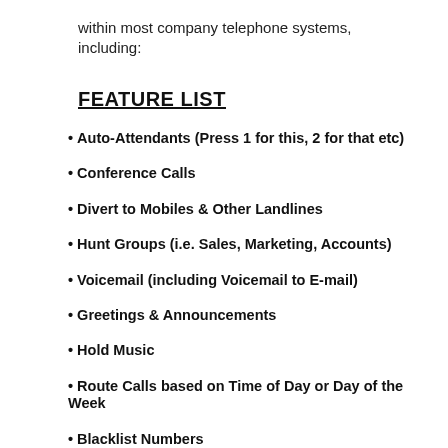within most company telephone systems, including:
FEATURE LIST
Auto-Attendants (Press 1 for this, 2 for that etc)
Conference Calls
Divert to Mobiles & Other Landlines
Hunt Groups (i.e. Sales, Marketing, Accounts)
Voicemail (including Voicemail to E-mail)
Greetings & Announcements
Hold Music
Route Calls based on Time of Day or Day of the Week
Blacklist Numbers
Create Call Queues with different rules
Interact with door entry equipment
Campaigns, via auto-dialing from number lists